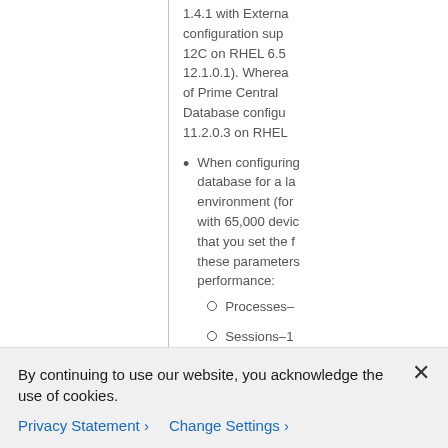1.4.1 with External configuration support 12C on RHEL 6.5 12.1.0.1). Whereas of Prime Central Database configuration 11.2.0.3 on RHEL
When configuring database for a large environment (for with 65,000 devices that you set the following these parameters performance: Processes- Sessions–1 optimizer_i –50
By continuing to use our website, you acknowledge the use of cookies.
Privacy Statement > Change Settings >